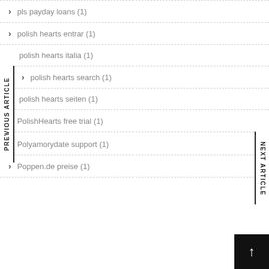pls payday loans (1)
polish hearts entrar (1)
polish hearts italia (1)
polish hearts search (1)
polish hearts seiten (1)
PolishHearts free trial (1)
Polyamorydate support (1)
Poppen.de preise (1)